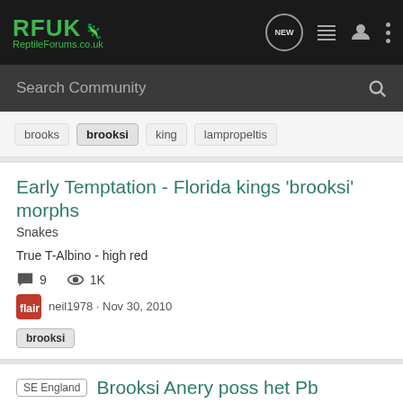[Figure (logo): RFUK Reptile Forums.co.uk logo in green on dark background]
Search Community
brooks
brooksi
king
lampropeltis
Early Temptation - Florida kings 'brooksi' morphs
Snakes
True T-Albino - high red
9  1K
neil1978 · Nov 30, 2010
brooksi
SE England   Brooksi Anery poss het Pb
Snake Classifieds
As on the website, will be lost Panorama better places in medium it...